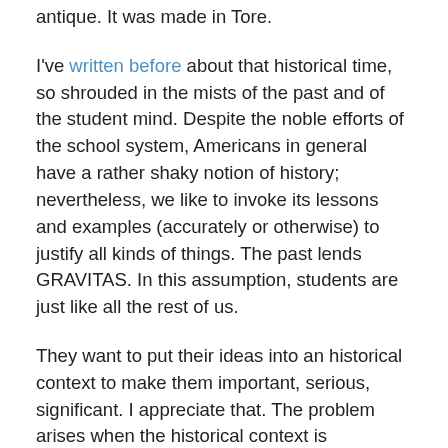antique. It was made in Tore.
I've written before about that historical time, so shrouded in the mists of the past and of the student mind. Despite the noble efforts of the school system, Americans in general have a rather shaky notion of history; nevertheless, we like to invoke its lessons and examples (accurately or otherwise) to justify all kinds of things. The past lends GRAVITAS. In this assumption, students are just like all the rest of us.
They want to put their ideas into an historical context to make them important, serious, significant. I appreciate that. The problem arises when the historical context is something comically vague, or comically wrong, or downright bizarre—as it was in this student's paper.
He was writing about electronic communications: